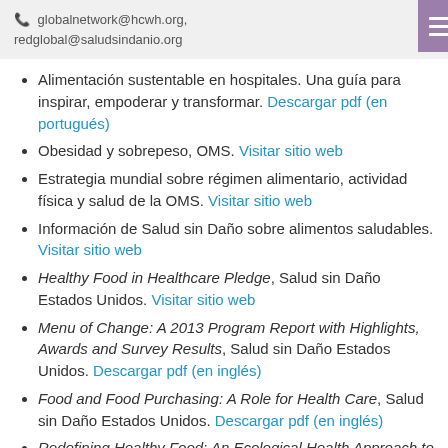globalnetwork@hcwh.org, redglobal@saludsindanio.org
Alimentación sustentable en hospitales. Una guía para inspirar, empoderar y transformar. Descargar pdf (en portugués)
Obesidad y sobrepeso, OMS. Visitar sitio web
Estrategia mundial sobre régimen alimentario, actividad física y salud de la OMS. Visitar sitio web
Información de Salud sin Daño sobre alimentos saludables. Visitar sitio web
Healthy Food in Healthcare Pledge, Salud sin Daño Estados Unidos. Visitar sitio web
Menu of Change: A 2013 Program Report with Highlights, Awards and Survey Results, Salud sin Daño Estados Unidos. Descargar pdf (en inglés)
Food and Food Purchasing: A Role for Health Care, Salud sin Daño Estados Unidos. Descargar pdf (en inglés)
Redefining Healthy Food: An Ecological Health Approach to Food Production, Distribution, and Procurement, Salud sin Daño Estados Unidos.